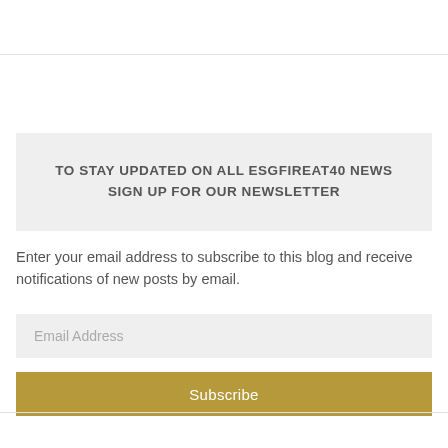TO STAY UPDATED ON ALL ESGFIREAT40 NEWS SIGN UP FOR OUR NEWSLETTER
Enter your email address to subscribe to this blog and receive notifications of new posts by email.
Email Address
Subscribe